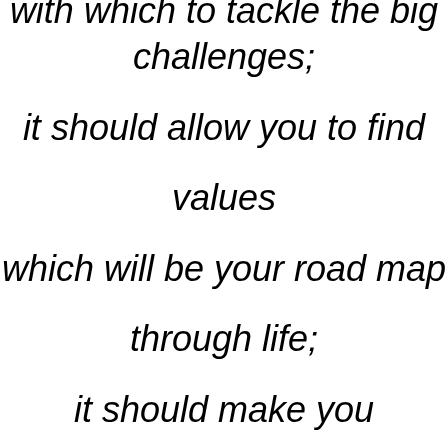with which to tackle the big challenges; it should allow you to find values which will be your road map through life; it should make you spiritually rich